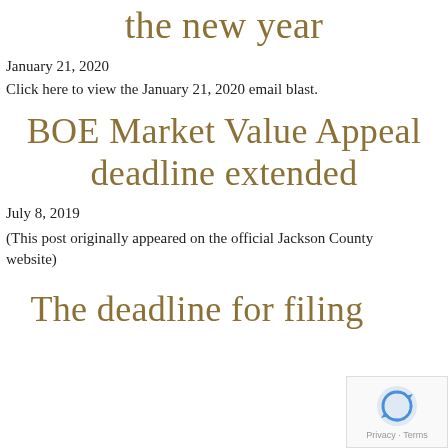the new year
January 21, 2020
Click here to view the January 21, 2020 email blast.
BOE Market Value Appeal deadline extended
July 8, 2019
(This post originally appeared on the official Jackson County website)
The deadline for filing